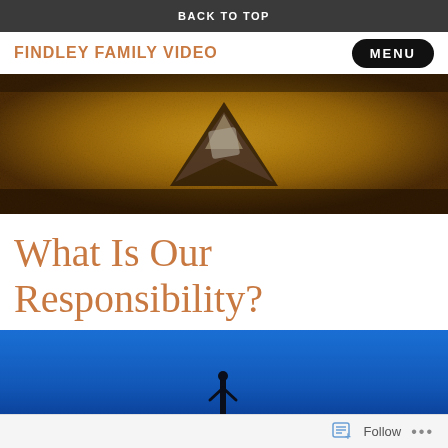BACK TO TOP
FINDLEY FAMILY VIDEO
[Figure (logo): Gold textured banner with a stylized V logo (triangle with internal shape) centered on an aged golden background]
What Is Our Responsibility?
[Figure (photo): Photo of a silhouette figure standing against a vivid blue sky background]
Follow ...